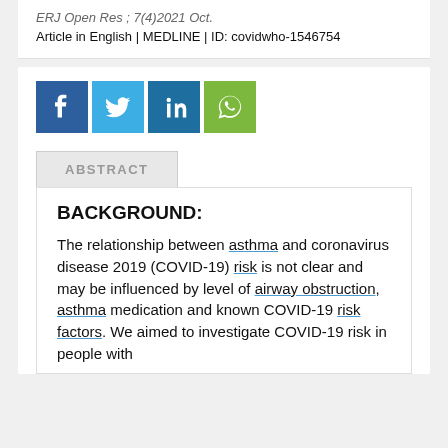ERJ Open Res ; 7(4)2021 Oct.
Article in English | MEDLINE | ID: covidwho-1546754
[Figure (other): Social media sharing buttons: Facebook (blue), Twitter (light blue), LinkedIn (dark blue), WhatsApp (green)]
ABSTRACT
BACKGROUND:
The relationship between asthma and coronavirus disease 2019 (COVID-19) risk is not clear and may be influenced by level of airway obstruction, asthma medication and known COVID-19 risk factors. We aimed to investigate COVID-19 risk in people with